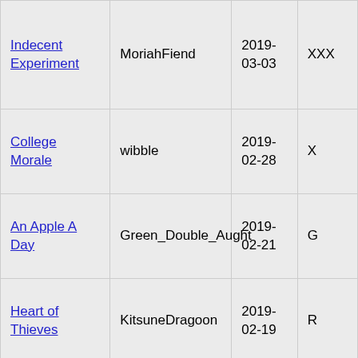| Indecent Experiment | MoriahFiend | 2019-03-03 | XXX |
| College Morale | wibble | 2019-02-28 | X |
| An Apple A Day | Green_Double_Aught | 2019-02-21 | G |
| Heart of Thieves | KitsuneDragoon | 2019-02-19 | R |
| Queens Quest 2 | Espera | 2019-02-07 | XXX |
| Arena of Lust | Foxsmiles | 2019-02-07 | XXX |
| ... | ... | 2019-... | ... |